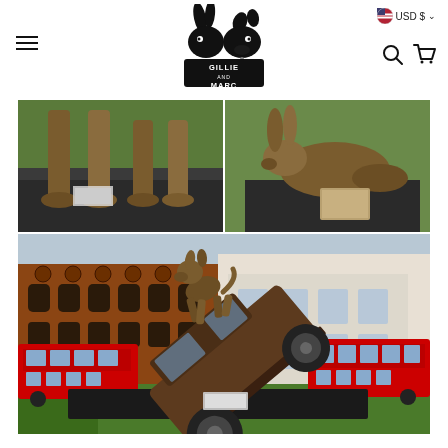[Figure (logo): Gillie and Marc logo - two animal heads (rabbit and dog) facing each other in black silhouette with text 'GILLIE AND MARC' below]
USD $
[Figure (photo): Top-left photo: Close-up of bronze animal sculpture legs/paws on a dark metal base with grass background]
[Figure (photo): Top-right photo: Bronze rabbit/dog sculpture lying down on a dark metal base on grass]
[Figure (photo): Large bottom photo: Bronze sculpture of a dog standing on top of a tilted vintage car (Rolls Royce style), mounted on a dark base, with London street scene in background including red double-decker buses and brick buildings]